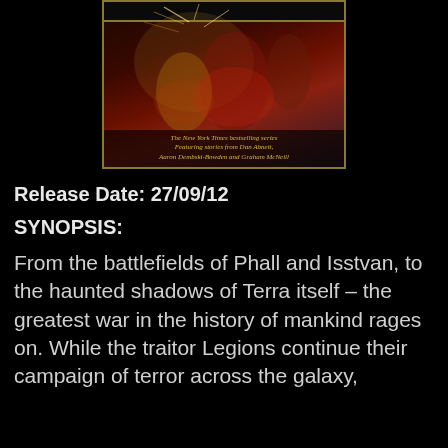[Figure (illustration): Book cover for a Warhammer 40K Horus Heresy anthology. Dark cover with armored Space Marine warriors in battle. Gold border at top. Text reads 'The New York Times bestselling series. Featuring stories from Dan Abnett, Aaron Dembski-Bowden and Graham McNeill']
Release Date: 27/09/12
SYNOPSIS:
From the battlefields of Phall and Isstvan, to the haunted shadows of Terra itself – the greatest war in the history of mankind rages on. While the traitor Legions continue their campaign of terror across the galaxy,